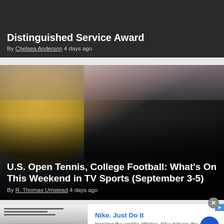Distinguished Service Award
By Chelsea Anderson 4 days ago
[Figure (photo): Tennis player (Serena Williams) holding a Wilson tennis racket, crowd visible in background]
U.S. Open Tennis, College Football: What's On This Weekend in TV Sports (September 3-5)
By R. Thomas Umstead 4 days ago
[Figure (other): Advertisement: Nike. Just Do It. Inspiring the world's athletes, Nike delivers the deals. www.nike.com]